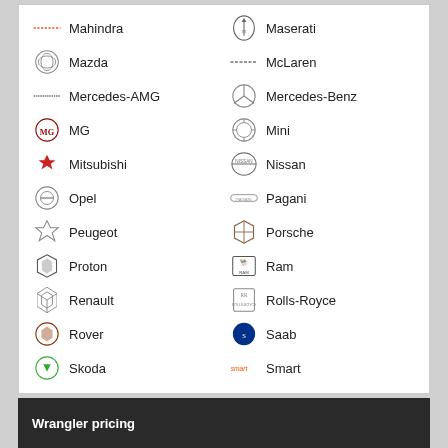Mahindra, Maserati, Mazda, McLaren, Mercedes-AMG, Mercedes-Benz, MG, Mini, Mitsubishi, Nissan, Opel, Pagani, Peugeot, Porsche, Proton, Ram, Renault, Rolls-Royce, Rover, Saab, Skoda, Smart, SsangYong, Subaru, Suzuki, Tesla, Toyota, Volkswagen, Volvo
Wrangler pricing